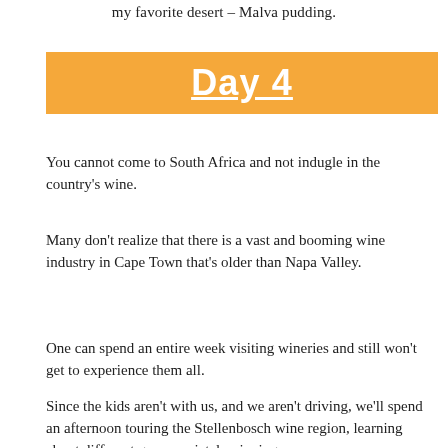my favorite desert – Malva pudding.
Day 4
You cannot come to South Africa and not indugle in the country's wine.
Many don't realize that there is a vast and booming wine industry in Cape Town that's older than Napa Valley.
One can spend an entire week visiting wineries and still won't get to experience them all.
Since the kids aren't with us, and we aren't driving, we'll spend an afternoon touring the Stellenbosch wine region, learning about different grape varietals, sipping the...